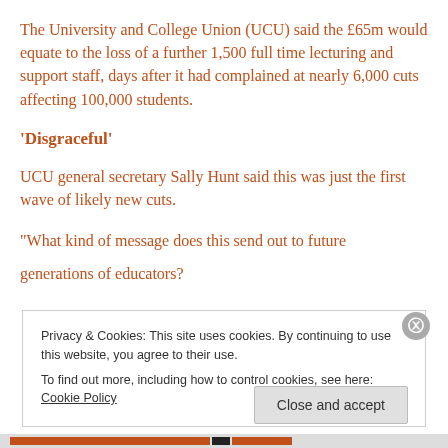The University and College Union (UCU) said the £65m would equate to the loss of a further 1,500 full time lecturing and support staff, days after it had complained at nearly 6,000 cuts affecting 100,000 students.
'Disgraceful'
UCU general secretary Sally Hunt said this was just the first wave of likely new cuts.
“What kind of message does this send out to future generations of educators?
Privacy & Cookies: This site uses cookies. By continuing to use this website, you agree to their use.
To find out more, including how to control cookies, see here: Cookie Policy
Close and accept